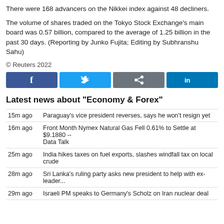There were 168 advancers on the Nikkei index against 48 decliners.
The volume of shares traded on the Tokyo Stock Exchange's main board was 0.57 billion, compared to the average of 1.25 billion in the past 30 days. (Reporting by Junko Fujita; Editing by Subhranshu Sahu)
© Reuters 2022
[Figure (other): Social sharing buttons: Facebook, Twitter, Share, LinkedIn]
Latest news about "Economy & Forex"
| Time | Headline |
| --- | --- |
| 15m ago | Paraguay's vice president reverses, says he won't resign yet |
| 16m ago | Front Month Nymex Natural Gas Fell 0.61% to Settle at $9.1880 -- Data Talk |
| 25m ago | India hikes taxes on fuel exports, slashes windfall tax on local crude |
| 28m ago | Sri Lanka's ruling party asks new president to help with ex-leader... |
| 29m ago | Israeli PM speaks to Germany's Scholz on Iran nuclear deal |